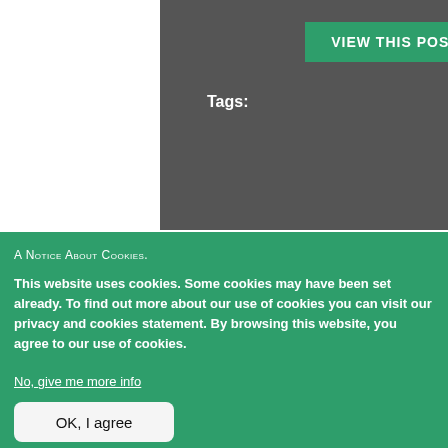VIEW THIS POST
Tags:
A NOTICE ABOUT COOKIES.
This website uses cookies. Some cookies may have been set already. To find out more about our use of cookies you can visit our privacy and cookies statement. By browsing this website, you agree to our use of cookies.
No, give me more info
OK, I agree